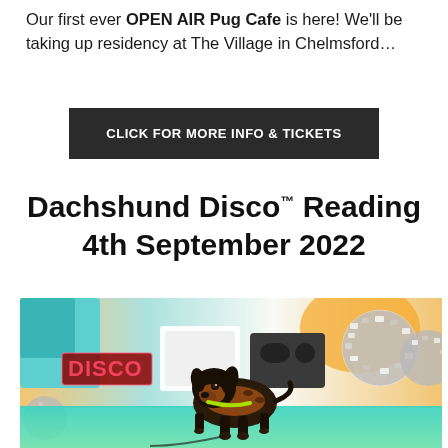Our first ever OPEN AIR Pug Cafe is here! We'll be taking up residency at The Village in Chelmsford…
CLICK FOR MORE INFO & TICKETS
Dachshund Disco™ Reading 4th September 2022
[Figure (photo): A dachshund dog wearing a leopard-print outfit and yellow collar standing in a disco-themed setting with mirror balls and a neon 'DISCO' sign in the background.]